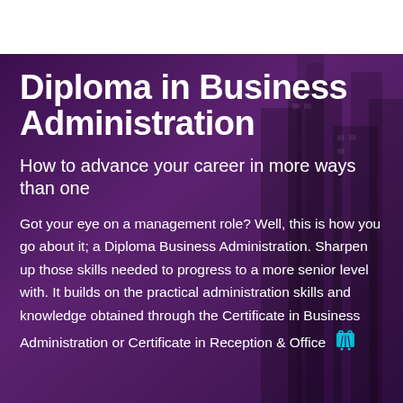Diploma in Business Administration
How to advance your career in more ways than one
Got your eye on a management role? Well, this is how you go about it; a Diploma Business Administration. Sharpen up those skills needed to progress to a more senior level with. It builds on the practical administration skills and knowledge obtained through the Certificate in Business Administration or Certificate in Reception & Office